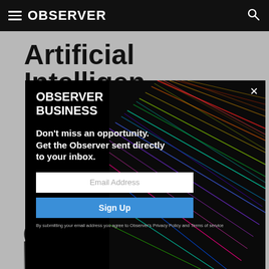OBSERVER
Artificial Intelligence
[Figure (screenshot): Observer Business email newsletter signup modal with colorful light streak background art. Contains OBSERVER BUSINESS branding, tagline 'Don't miss an opportunity. Get the Observer sent directly to your inbox.', email input field, Sign Up button, and privacy disclaimer. Close X button in top right.]
[Figure (infographic): Row of four circular social media share buttons: Facebook (f), Twitter (bird), LinkedIn (in), Email (envelope)]
[Figure (photo): Partial view of a dark/moody photograph at the bottom of the page, appears to show technology or device imagery]